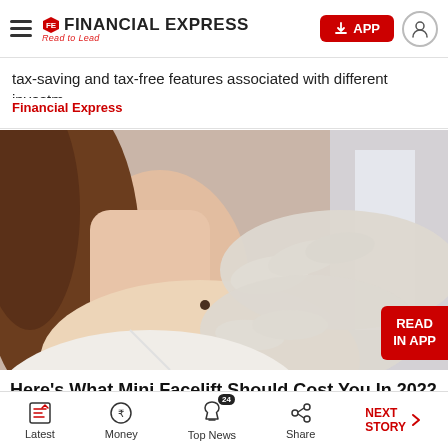Financial Express — Read to Lead
tax-saving and tax-free features associated with different investm…
Financial Express
[Figure (photo): A gloved medical professional's hand examining a mole on a young woman's neck/collarbone area. The woman has brown hair and is wearing a white top.]
Here's What Mini Facelift Should Cost You In 2022
Latest | Money | Top News (24) | Share | NEXT STORY